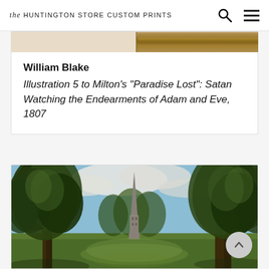the HUNTINGTON STORE CUSTOM PRINTS
[Figure (illustration): Partial view of a framed artwork at the top of the first card, showing a brown/golden horizontal strip representing the top edge of a painting]
William Blake
Illustration 5 to Milton's "Paradise Lost": Satan Watching the Endearments of Adam and Eve, 1807
[Figure (illustration): Landscape painting showing tall trees framing a view of a church spire (likely Salisbury Cathedral) in the background with a blue sky and green foliage — classical English landscape style]